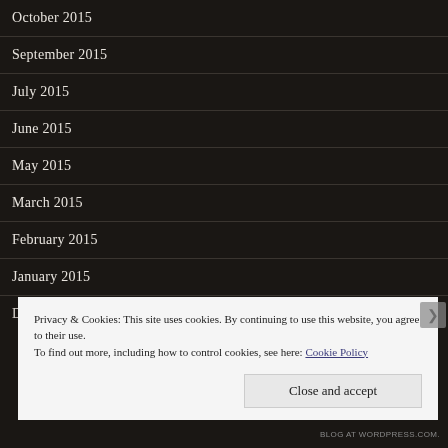October 2015
September 2015
July 2015
June 2015
May 2015
March 2015
February 2015
January 2015
December 2014
Privacy & Cookies: This site uses cookies. By continuing to use this website, you agree to their use. To find out more, including how to control cookies, see here: Cookie Policy
Close and accept
BLOG AT WORDPRESS.COM.